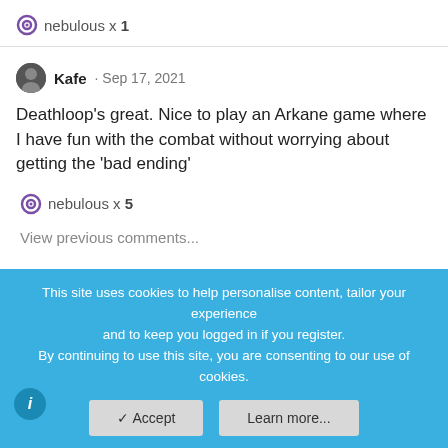nebulous x 1
Kafe · Sep 17, 2021
Deathloop's great. Nice to play an Arkane game where I have fun with the combat without worrying about getting the 'bad ending'
nebulous x 5
View previous comments...
TommyGman
Had a tonne of fun with it already today, played it for
This site uses cookies to help personalise content, tailor your experience and to keep you logged in if you register.
By continuing to use this site, you are consenting to our use of cookies.